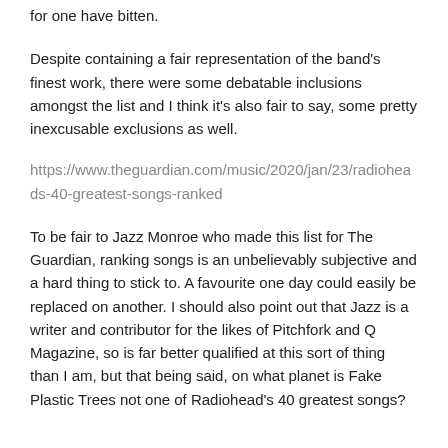for one have bitten.
Despite containing a fair representation of the band’s finest work, there were some debatable inclusions amongst the list and I think it’s also fair to say, some pretty inexcusable exclusions as well.
https://www.theguardian.com/music/2020/jan/23/radioheads-40-greatest-songs-ranked
To be fair to Jazz Monroe who made this list for The Guardian, ranking songs is an unbelievably subjective and a hard thing to stick to. A favourite one day could easily be replaced on another. I should also point out that Jazz is a writer and contributor for the likes of Pitchfork and Q Magazine, so is far better qualified at this sort of thing than I am, but that being said, on what planet is Fake Plastic Trees not one of Radiohead’s 40 greatest songs?